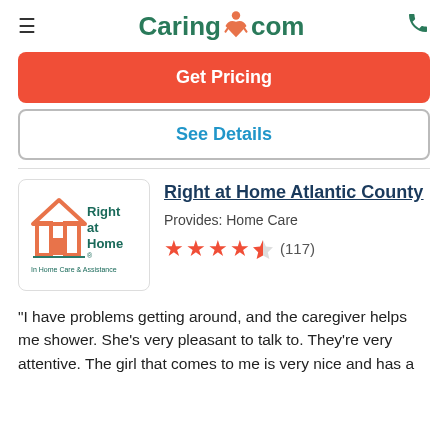Caring.com
Get Pricing
See Details
[Figure (logo): Right at Home logo — orange house icon with teal text 'Right at Home' and subtitle 'In Home Care & Assistance']
Right at Home Atlantic County
Provides: Home Care
★★★★½ (117)
"I have problems getting around, and the caregiver helps me shower. She's very pleasant to talk to. They're very attentive. The girl that comes to me is very nice and has a